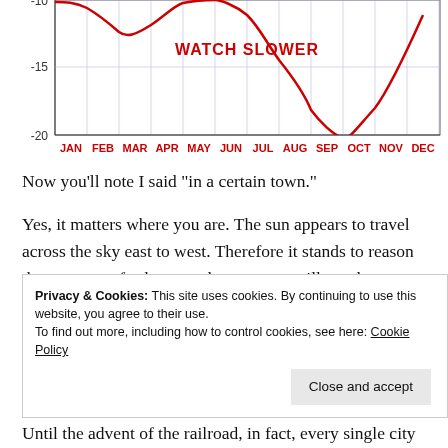[Figure (continuous-plot): Bottom portion of a chart showing equation of time in minutes, with x-axis months JAN through DEC, y-axis from -20 to -10 (partial view). Red curve dips near NOV. 'WATCH SLOWER' label in red in upper center area.]
Now you’ll note I said “in a certain town.”
Yes, it matters where you are. The sun appears to travel across the sky east to west. Therefore it stands to reason that someone further east than you are will see the sun cross the meridian earlier than you do. And when he does the whole averaging to get mean solar time thing that you did, he’s going to end up setting his watch a bit
Privacy & Cookies: This site uses cookies. By continuing to use this website, you agree to their use.
To find out more, including how to control cookies, see here: Cookie Policy
Until the advent of the railroad, in fact, every single city